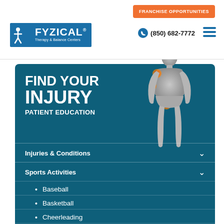FRANCHISE OPPORTUNITIES | FYZICAL Therapy & Balance Centers | (850) 682-7772
[Figure (infographic): FYZICAL Therapy & Balance Centers website screenshot showing 'Find Your Injury - Patient Education' section with a 3D human body model with injury highlights in red/orange, and a dropdown menu listing Sports Activities including Baseball, Basketball, Cheerleading, Cycling]
FIND YOUR INJURY
PATIENT EDUCATION
Injuries & Conditions
Sports Activities
Baseball
Basketball
Cheerleading
Cycling